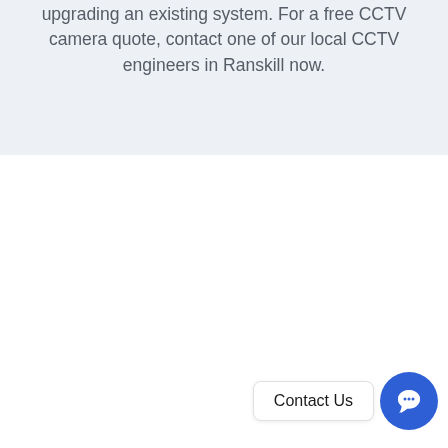upgrading an existing system. For a free CCTV camera quote, contact one of our local CCTV engineers in Ranskill now.
Contact Us